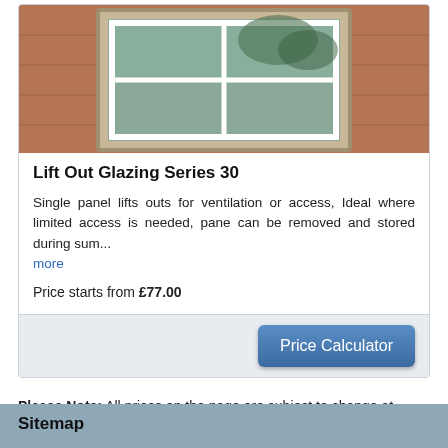[Figure (photo): Photo of a lift-out glazing panel window installed in a brick wall, showing a white-framed single panel window]
Lift Out Glazing Series 30
Single panel lifts outs for ventilation or access, Ideal where limited access is needed, pane can be removed and stored during sum... more
Price starts from £77.00
Please Note: All prices on the page are subject to change at manufacturers discretion.
Back to Top
Sitemap